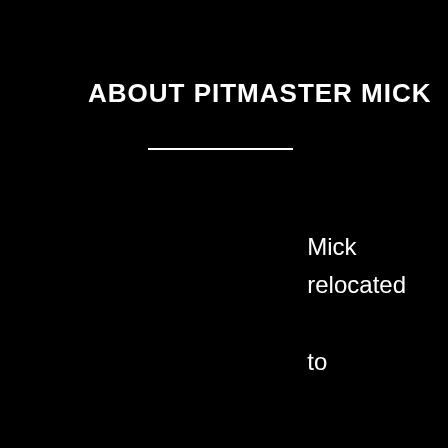ABOUT PITMASTER MICK
Mick relocated to